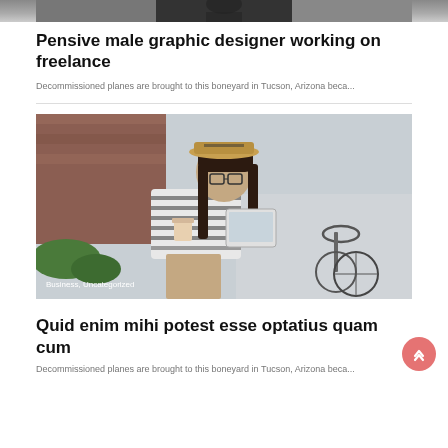[Figure (photo): Partial view of a photo showing a pensive male graphic designer working on freelance — top portion cropped]
Pensive male graphic designer working on freelance
Decommissioned planes are brought to this boneyard in Tucson, Arizona beca...
[Figure (photo): Young woman with hat and glasses sitting outdoors, holding a coffee cup and reading a tablet, with a bicycle next to her. Badge reads: Business, Uncategorized]
Quid enim mihi potest esse optatius quam cum
Decommissioned planes are brought to this boneyard in Tucson, Arizona beca...